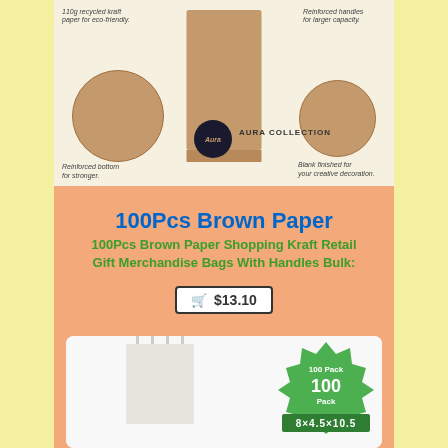[Figure (photo): Kraft brown paper bag product detail image showing bag features with circular callouts: 110g recycled kraft paper for eco-friendly, Reinforced handles for larger capacity, Reinforced bottom for stronger, Blank finished for your creative decoration, Aura Collection logo badge]
100Pcs Brown Paper
100Pcs Brown Paper Shopping Kraft Retail Gift Merchandise Bags With Handles Bulk:
🛒 $13.10
[Figure (photo): White paper shopping bag with handles next to a green circular badge showing '100 Pack' and '8x4.5x10.5' dimensions]